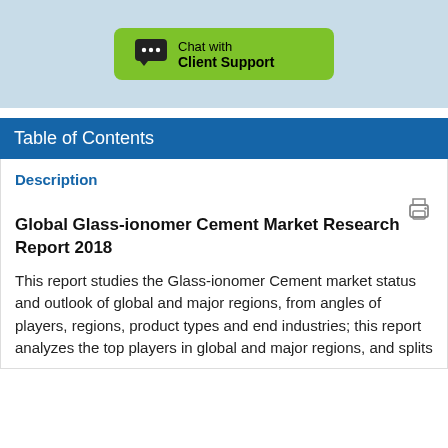[Figure (other): Chat with Client Support button (green button with chat icon) on a light blue background]
Table of Contents
Description
Global Glass-ionomer Cement Market Research Report 2018
This report studies the Glass-ionomer Cement market status and outlook of global and major regions, from angles of players, regions, product types and end industries; this report analyzes the top players in global and major regions, and splits